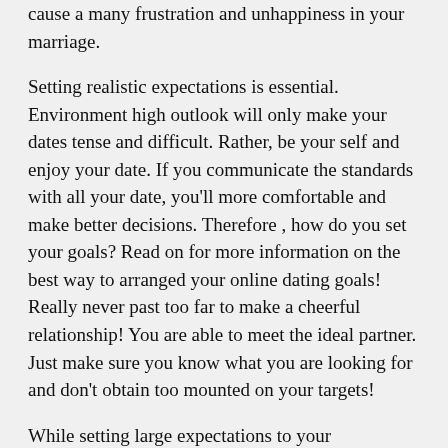cause a many frustration and unhappiness in your marriage.
Setting realistic expectations is essential. Environment high outlook will only make your dates tense and difficult. Rather, be your self and enjoy your date. If you communicate the standards with all your date, you'll more comfortable and make better decisions. Therefore , how do you set your goals? Read on for more information on the best way to arranged your online dating goals! Really never past too far to make a cheerful relationship! You are able to meet the ideal partner. Just make sure you know what you are looking for and don't obtain too mounted on your targets!
While setting large expectations to your relationship is very important, they should be reasonable. Having so many high beliefs will result in a battle or malfunction, which is no chance to build a happy relationship. Rather,